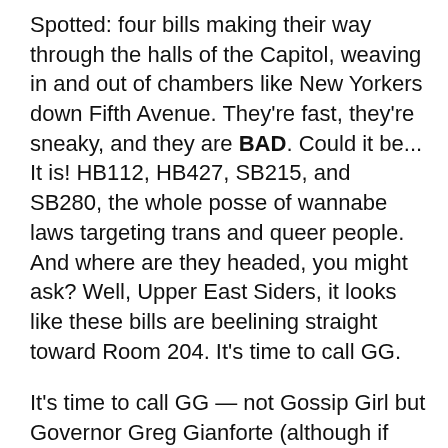Spotted: four bills making their way through the halls of the Capitol, weaving in and out of chambers like New Yorkers down Fifth Avenue. They're fast, they're sneaky, and they are BAD. Could it be... It is! HB112, HB427, SB215, and SB280, the whole posse of wannabe laws targeting trans and queer people. And where are they headed, you might ask? Well, Upper East Siders, it looks like these bills are beelining straight toward Room 204. It's time to call GG.
It's time to call GG — not Gossip Girl but Governor Greg Gianforte (although if you have their number, let us know). Demand that Governor Gianforte veto all four of these dangerous, unnecessary bills. This is the last step in the process before these bad boys become law, and there's no time to lose. Tell our Governor that Montana does not tolerate discrimination.